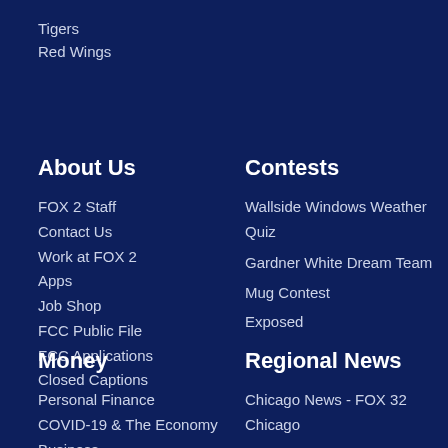Tigers
Red Wings
About Us
FOX 2 Staff
Contact Us
Work at FOX 2
Apps
Job Shop
FCC Public File
FCC Applications
Closed Captions
Contests
Wallside Windows Weather Quiz
Gardner White Dream Team
Mug Contest
Exposed
Money
Personal Finance
COVID-19 & The Economy
Business
Regional News
Chicago News - FOX 32 Chicago
Milwaukee News - FOX 6 News